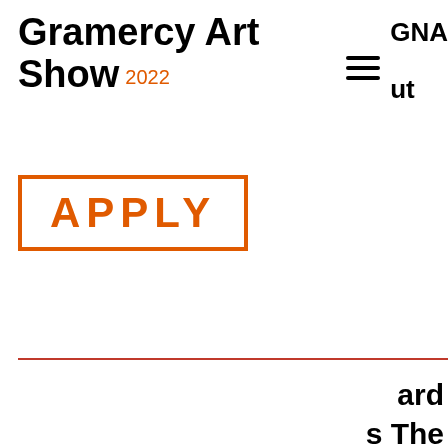Gramercy Art Show 2022
GNA ut
[Figure (other): Orange bordered APPLY button/link]
ard s The Gramercy Art Show, which showcases the work of artists from around the world.  She is a member of GNA's Taste of Gramercy planning committee, and an award-winning photo-journalist, having amassed national recognition for her work, which has been featured in